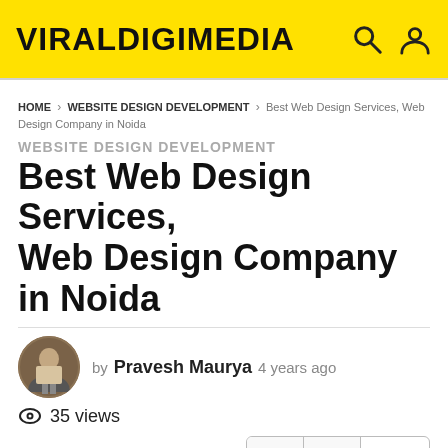VIRALDIGIMEDIA
HOME > WEBSITE DESIGN DEVELOPMENT > Best Web Design Services, Web Design Company in Noida
WEBSITE DESIGN DEVELOPMENT
Best Web Design Services, Web Design Company in Noida
by Pravesh Maurya 4 years ago
35 views
0
We Give profoundly viable and extreme outcome situated administrations in web improvement. So on the off chance that you need to stand your business surrounding, you need